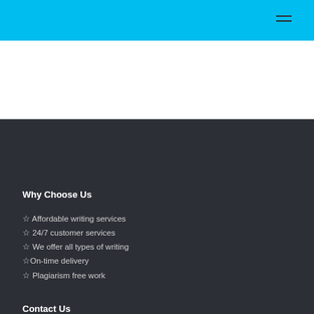Why Choose Us
☆ Affordable writing services
☆ 24/7 customer services
☆ We offer all types of writing
☆On-time delivery
☆ Plagiarism free work
Contact Us